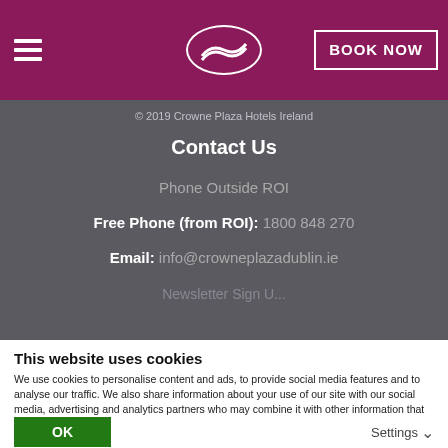[Figure (logo): Crowne Plaza hotel website header with hamburger menu, logo oval with wave symbol, and BOOK NOW button on magenta/purple background]
© 2019 Crowne Plaza Hotels Ireland
Contact Us
Phone Outside ROI
Free Phone (from ROI): 1800 848 270
Email: info@crowneplazadublin.ie
This website uses cookies
We use cookies to personalise content and ads, to provide social media features and to analyse our traffic. We also share information about your use of our site with our social media, advertising and analytics partners who may combine it with other information that you've provided to them or that they've collected from your use of their services. You consent to our cookies if you continue to use our website.
OK
Settings